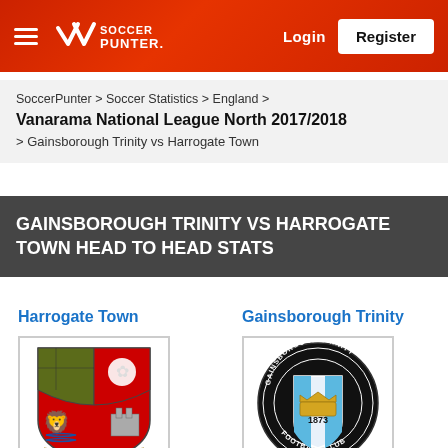SoccerPunter — Login / Register
SoccerPunter > Soccer Statistics > England > Vanarama National League North 2017/2018 > Gainsborough Trinity vs Harrogate Town
GAINSBOROUGH TRINITY VS HARROGATE TOWN HEAD TO HEAD STATS
Harrogate Town
[Figure (logo): Harrogate Town Football Club crest/badge]
Gainsborough Trinity
[Figure (logo): Gainsborough Trinity Football Club crest/badge]